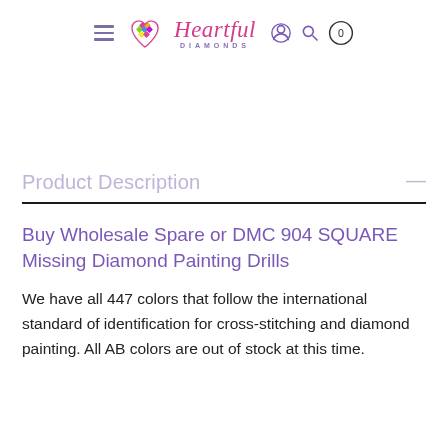Heartful Diamonds
Product Description
Buy Wholesale Spare or DMC 904 SQUARE Missing Diamond Painting Drills
We have all 447 colors that follow the international standard of identification for cross-stitching and diamond painting. All AB colors are out of stock at this time.